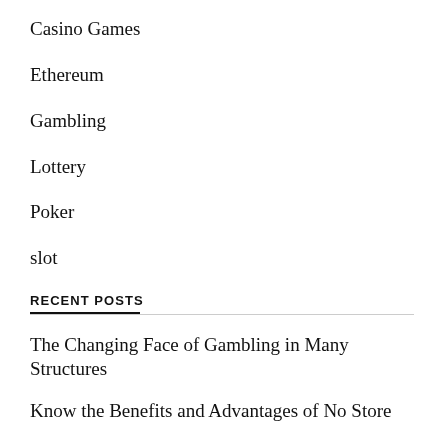Casino Games
Ethereum
Gambling
Lottery
Poker
slot
RECENT POSTS
The Changing Face of Gambling in Many Structures
Know the Benefits and Advantages of No Store